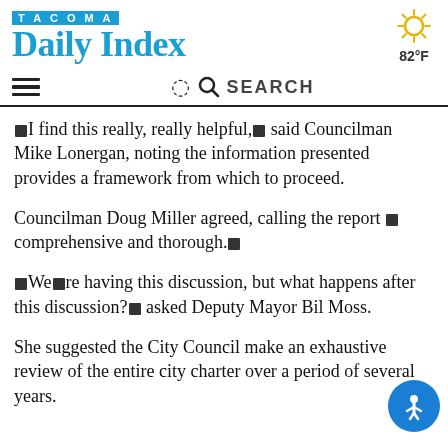Tacoma Daily Index
“I find this really, really helpful,” said Councilman Mike Lonergan, noting the information presented provides a framework from which to proceed.
Councilman Doug Miller agreed, calling the report “comprehensive and thorough.”
“We’re having this discussion, but what happens after this discussion?” asked Deputy Mayor Bil Moss.
She suggested the City Council make an exhaustive review of the entire city charter over a period of several years.